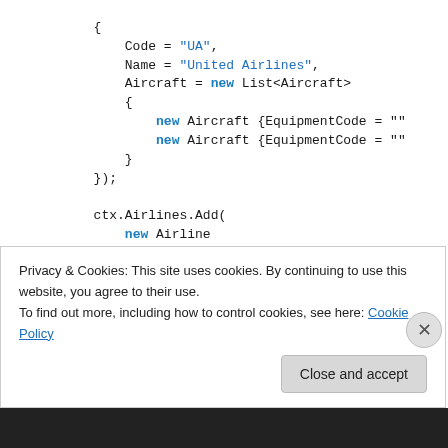{
    Code = "UA",
    Name = "United Airlines",
    Aircraft = new List<Aircraft>
    {
        new Aircraft {EquipmentCode = "...
        new Aircraft {EquipmentCode = "...
    }
});

ctx.Airlines.Add(
    new Airline
    {
        Code = "FR",
        Name = "Ryan Air",
        Aircraft = new List<Aircraft>
        {
Privacy & Cookies: This site uses cookies. By continuing to use this website, you agree to their use.
To find out more, including how to control cookies, see here: Cookie Policy